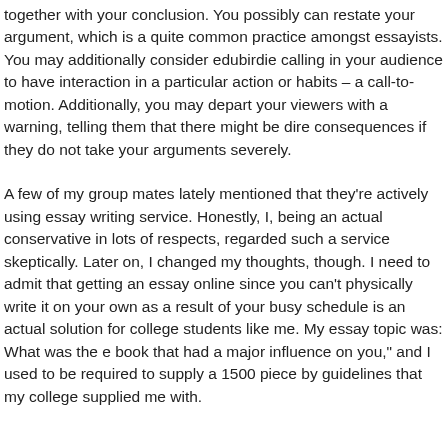together with your conclusion. You possibly can restate your argument, which is a quite common practice amongst essayists. You may additionally consider edubirdie calling in your audience to have interaction in a particular action or habits – a call-to-motion. Additionally, you may depart your viewers with a warning, telling them that there might be dire consequences if they do not take your arguments severely.
A few of my group mates lately mentioned that they're actively using essay writing service. Honestly, I, being an actual conservative in lots of respects, regarded such a service skeptically. Later on, I changed my thoughts, though. I need to admit that getting an essay online since you can't physically write it on your own as a result of your busy schedule is an actual solution for college students like me. My essay topic was: What was the e book that had a major influence on you," and I used to be required to supply a 1500 piece by guidelines that my college supplied me with.